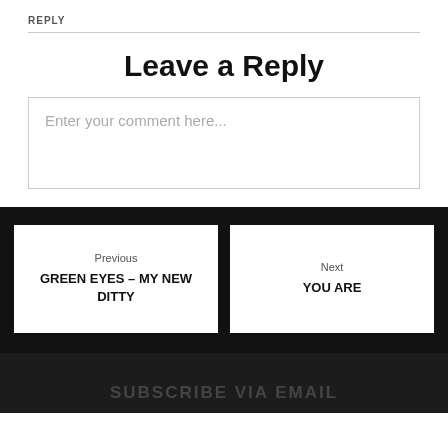REPLY
Leave a Reply
Enter your comment here...
Previous
GREEN EYES – MY NEW DITTY
Next
YOU ARE
SUBSCRIBE VIA EMAIL